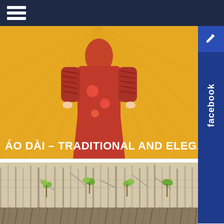Navigation bar with hamburger menu
[Figure (illustration): Illustration of a woman wearing a red Áo Dài traditional Vietnamese dress on a golden/amber background with radiating lines pattern. The title 'ÁO DÀI – TRADITIONAL AND ELEGANT' overlays the bottom of the image.]
ÁO DÀI – TRADITIONAL AND ELEGANT
[Figure (photo): Photograph of a mangrove forest with thin white/grey tree trunks and green young saplings growing among dry grass and roots on muddy ground.]